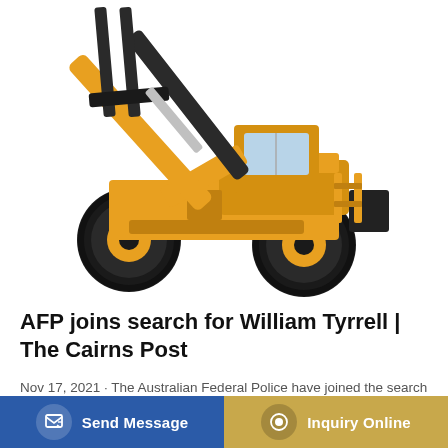[Figure (photo): Yellow heavy construction wheel loader / forklift vehicle with raised forks, photographed on white background]
AFP joins search for William Tyrrell | The Cairns Post
Nov 17, 2021 · The Australian Federal Police have joined the search for the remains of toddler William Tyrrell on the [Mid North] Coa[st]...